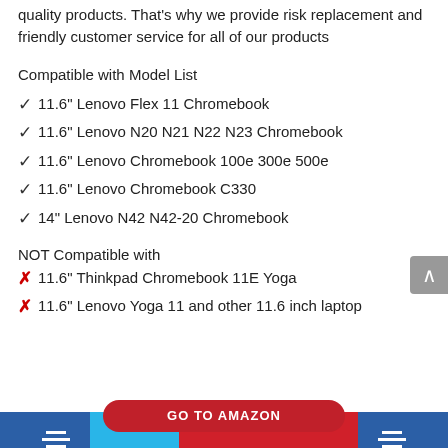quality products. That's why we provide risk replacement and friendly customer service for all of our products
Compatible with Model List
✓ 11.6" Lenovo Flex 11 Chromebook
✓ 11.6" Lenovo N20 N21 N22 N23 Chromebook
✓ 11.6" Lenovo Chromebook 100e 300e 500e
✓ 11.6" Lenovo Chromebook C330
✓ 14" Lenovo N42 N42-20 Chromebook
NOT Compatible with
✗ 11.6" Thinkpad Chromebook 11E Yoga
✗ 11.6" Lenovo Yoga 11 and other 11.6 inch laptop